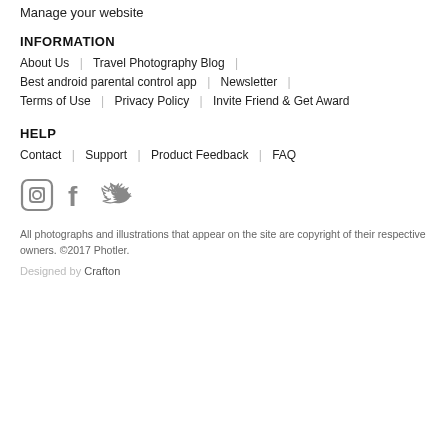Manage your website
INFORMATION
About Us | Travel Photography Blog |
Best android parental control app | Newsletter |
Terms of Use | Privacy Policy | Invite Friend & Get Award
HELP
Contact | Support | Product Feedback | FAQ
[Figure (illustration): Social media icons: Instagram, Facebook, Twitter]
All photographs and illustrations that appear on the site are copyright of their respective owners. ©2017 Photler.
Designed by Crafton